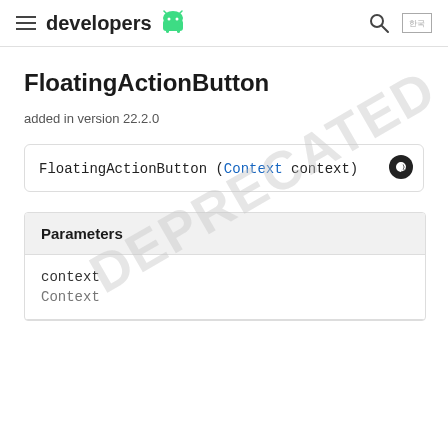developers
FloatingActionButton
added in version 22.2.0
FloatingActionButton (Context context)
| Parameters |
| --- |
| context | Context |